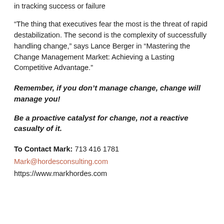in tracking success or failure
“The thing that executives fear the most is the threat of rapid destabilization. The second is the complexity of successfully handling change,” says Lance Berger in “Mastering the Change Management Market: Achieving a Lasting Competitive Advantage.”
Remember, if you don’t manage change, change will manage you!
Be a proactive catalyst for change, not a reactive casualty of it.
To Contact Mark: 713 416 1781
Mark@hordesconsulting.com
https://www.markhordes.com